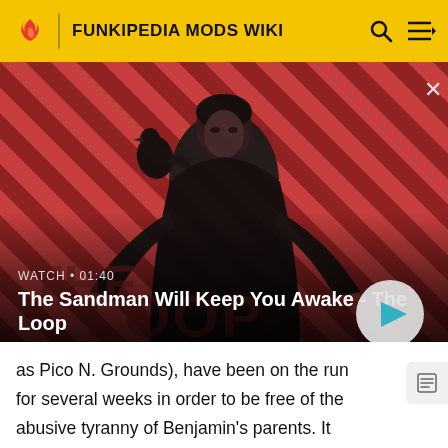FUNKIPEDIA MODS WIKI
[Figure (screenshot): Video thumbnail showing a dark-cloaked figure with a raven on their shoulder against a red and black diagonal stripe background. Title: The Sandman Will Keep You Awake - The Loop. Watch duration: 01:40.]
as Pico N. Grounds), have been on the run for several weeks in order to be free of the abusive tyranny of Benjamin's parents. It gets to the point where even his childhood friend, Grace Dearest, has tried to get him back! And in a world where status defines your fame, it